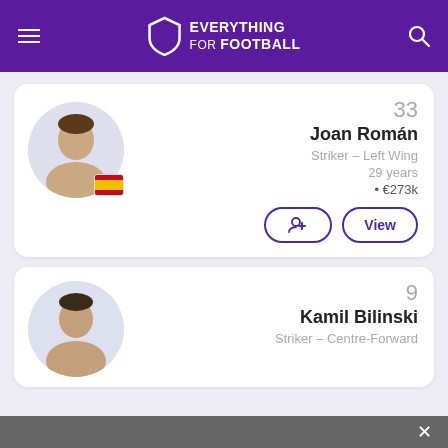Everything For Football
33
Joan Román
Striker - Left Wing
29 years
• €273k
9
Kamil Bilinski
Striker - Centre-Forward